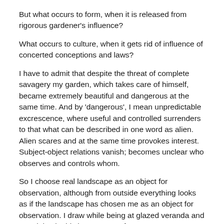But what occurs to form, when it is released from rigorous gardener's influence?
What occurs to culture, when it gets rid of influence of concerted conceptions and laws?
I have to admit that despite the threat of complete savagery my garden, which takes care of himself, became extremely beautiful and dangerous at the same time. And by 'dangerous', I mean unpredictable excrescence, where useful and controlled surrenders to that what can be described in one word as alien. Alien scares and at the same time provokes interest. Subject-object relations vanish; becomes unclear who observes and controls whom.
So I choose real landscape as an object for observation, although from outside everything looks as if the landscape has chosen me as an object for observation. I draw while being at glazed veranda and remaining in this insecure comfort zone, I am sure that I observe the landscape, which I see through window almost everywhere without going outside. Window frames are like picture frames: they take external reality in frame and tame it by dividing into conditional elements and thus systematizing.
If looking from outside, I myself remain in glass cage of